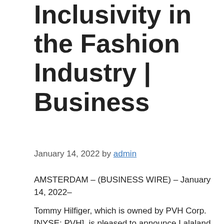Inclusivity in the Fashion Industry | Business
January 14, 2022 by admin
AMSTERDAM – (BUSINESS WIRE) – January 14, 2022–
Tommy Hilfiger, which is owned by PVH Corp. [NYSE: PVH], is pleased to announce Lalaland and UZURI K&Y as winners of the third Tommy Hilfiger Fashion Frontier Challenge, a dedicated global program designed to find and support ideas that lead to a more inclusive fashion landscape. The